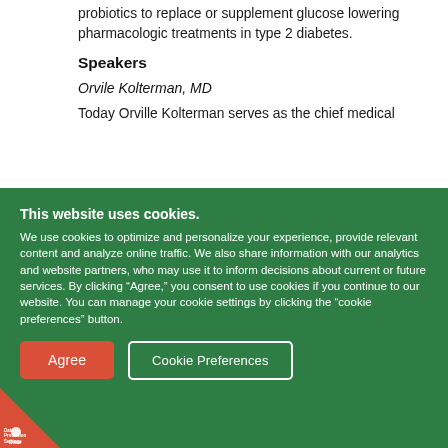probiotics to replace or supplement glucose lowering pharmacologic treatments in type 2 diabetes.
Speakers
Orvile Kolterman, MD
Today Orville Kolterman serves as the chief medical
This website uses cookies.
We use cookies to optimize and personalize your experience, provide relevant content and analyze online traffic. We also share information with our analytics and website partners, who may use it to inform decisions about current or future services. By clicking “Agree,” you consent to use cookies if you continue to our website. You can manage your cookie settings by clicking the “cookie preferences” button.
[Figure (other): Cookie consent buttons: red 'Agree' button and white-outlined 'Cookie Preferences' button on green background]
[Figure (logo): Data Protection Settings badge in bottom-left corner, red triangle with white icon and text]